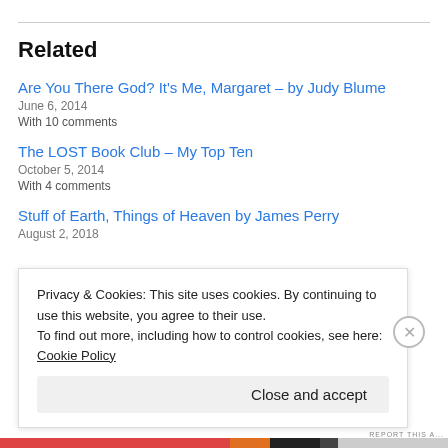Related
Are You There God? It's Me, Margaret – by Judy Blume
June 6, 2014
With 10 comments
The LOST Book Club – My Top Ten
October 5, 2014
With 4 comments
Stuff of Earth, Things of Heaven by James Perry
August 2, 2018
Privacy & Cookies: This site uses cookies. By continuing to use this website, you agree to their use.
To find out more, including how to control cookies, see here: Cookie Policy
Close and accept